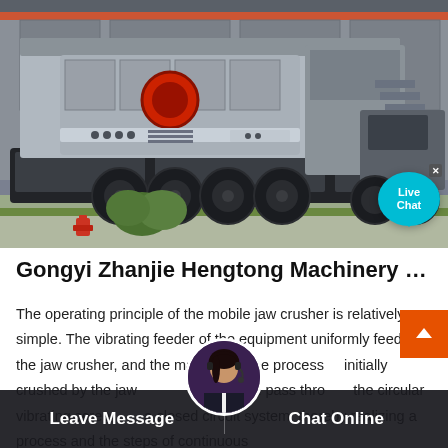[Figure (photo): Mobile jaw crusher machine mounted on a large truck trailer, photographed in front of an industrial building. The machine is grey/silver with black wheels. A red fire hydrant and green bushes are visible in the foreground. A 'Live Chat' cyan bubble overlay appears in the lower-right corner of the image.]
Gongyi Zhanjie Hengtong Machinery F…
The operating principle of the mobile jaw crusher is relatively simple. The vibrating feeder of the equipment uniformly feeds the jaw crusher, and the materials to be processed initially crushed by the jaw crusher, and then pass through the circular vibrating screen in a closed circuit system, thereby realizing a process and the steps of continuous